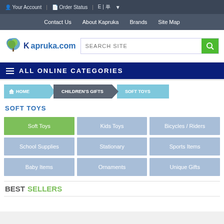Your Account | Order Status | E | ▼
Contact Us   About Kapruka   Brands   Site Map
[Figure (logo): Kapruka.com logo with tree icon]
ALL ONLINE CATEGORIES
HOME > CHILDREN'S GIFTS > SOFT TOYS (breadcrumb)
SOFT TOYS
| Soft Toys | Kids Toys | Bicycles / Riders |
| School Supplies | Stationary | Sports Items |
| Baby Items | Ornaments | Unique Gifts |
BEST SELLERS